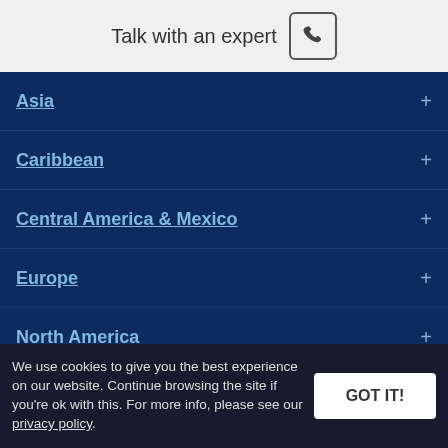Talk with an expert
Asia
Caribbean
Central America & Mexico
Europe
North America
Polar Regions
South America
We use cookies to give you the best experience on our website. Continue browsing the site if you're ok with this. For more info, please see our privacy policy.